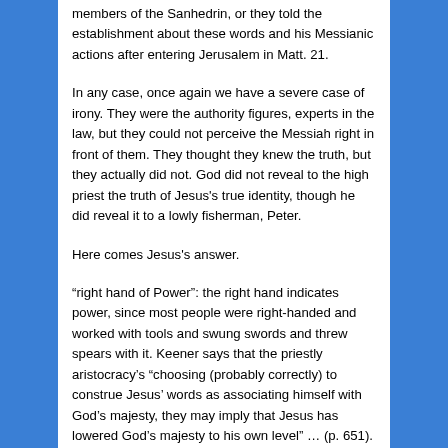members of the Sanhedrin, or they told the establishment about these words and his Messianic actions after entering Jerusalem in Matt. 21.
In any case, once again we have a severe case of irony. They were the authority figures, experts in the law, but they could not perceive the Messiah right in front of them. They thought they knew the truth, but they actually did not. God did not reveal to the high priest the truth of Jesus's true identity, though he did reveal it to a lowly fisherman, Peter.
Here comes Jesus's answer.
“right hand of Power”: the right hand indicates power, since most people were right-handed and worked with tools and swung swords and threw spears with it. Keener says that the priestly aristocracy’s “choosing (probably correctly) to construe Jesus’ words as associating himself with God’s majesty, they may imply that Jesus has lowered God’s majesty to his own level” … (p. 651). Yes, Jesus was Majesty incarnate, so he did bring down God